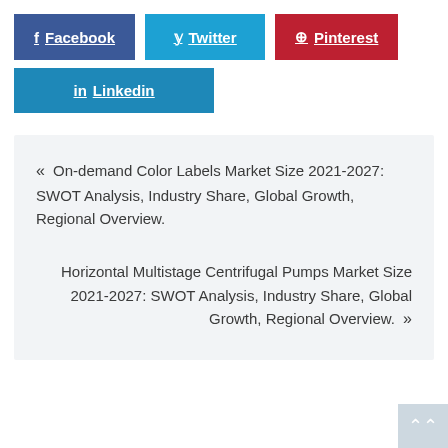[Figure (other): Social share buttons: Facebook (dark blue), Twitter (light blue), Pinterest (red), Linkedin (blue)]
« On-demand Color Labels Market Size 2021-2027: SWOT Analysis, Industry Share, Global Growth, Regional Overview.
Horizontal Multistage Centrifugal Pumps Market Size 2021-2027: SWOT Analysis, Industry Share, Global Growth, Regional Overview. »